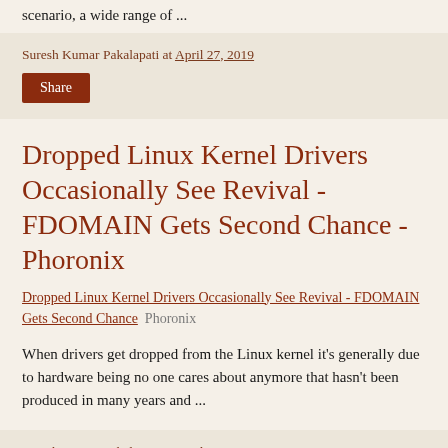scenario, a wide range of ...
Suresh Kumar Pakalapati at April 27, 2019
Share
Dropped Linux Kernel Drivers Occasionally See Revival - FDOMAIN Gets Second Chance - Phoronix
Dropped Linux Kernel Drivers Occasionally See Revival - FDOMAIN Gets Second Chance  Phoronix
When drivers get dropped from the Linux kernel it's generally due to hardware being no one cares about anymore that hasn't been produced in many years and ...
Suresh Kumar Pakalapati at April 27, 2019